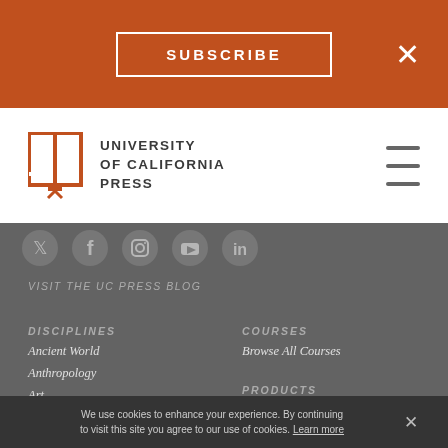SUBSCRIBE
[Figure (logo): University of California Press logo — open book icon with UC Press wordmark]
[Figure (illustration): Social media icons: Twitter, Facebook, Instagram, YouTube, LinkedIn]
VISIT THE UC PRESS BLOG
DISCIPLINES
Ancient World
Anthropology
Art
Communication
Criminology & Criminal Justice
Film & Media Studies
COURSES
Browse All Courses
PRODUCTS
Books
Journals
RESOURCES
We use cookies to enhance your experience. By continuing to visit this site you agree to our use of cookies. Learn more